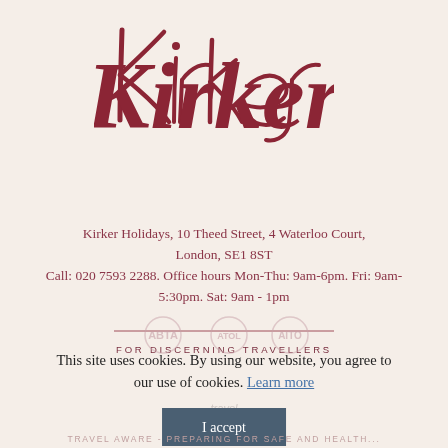[Figure (logo): Kirker script logo in dark red/crimson with tagline 'FOR DISCERNING TRAVELLERS' below a horizontal rule]
Kirker Holidays, 10 Theed Street, 4 Waterloo Court, London, SE1 8ST
Call: 020 7593 2288. Office hours Mon-Thu: 9am-6pm. Fri: 9am-5:30pm. Sat: 9am - 1pm
[Figure (logo): ABTA, AITO and other certification logos shown as faded watermarks]
This site uses cookies. By using our website, you agree to our use of cookies. Learn more
[Figure (logo): Travel aware logo]
I accept
TRAVEL AWARE - PREPARING FOR SAFE AND HEALTHY...